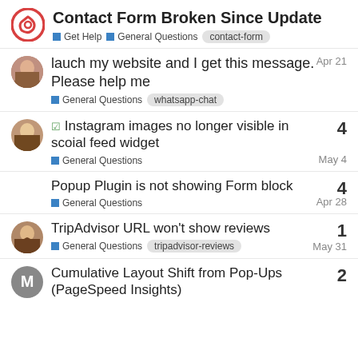Contact Form Broken Since Update
Get Help  General Questions  contact-form
lauch my website and I get this message. Please help me — General Questions  whatsapp-chat  Apr 21 — replies: 2
✓ Instagram images no longer visible in scoial feed widget — General Questions  May 4 — replies: 4
Popup Plugin is not showing Form block — General Questions  Apr 28 — replies: 4
TripAdvisor URL won't show reviews — General Questions  tripadvisor-reviews  May 31 — replies: 1
Cumulative Layout Shift from Pop-Ups (PageSpeed Insights) — replies: 2